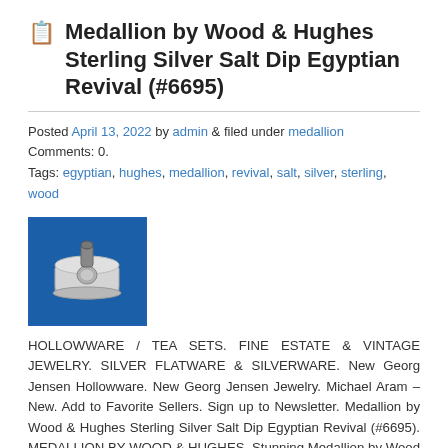Medallion by Wood & Hughes Sterling Silver Salt Dip Egyptian Revival (#6695)
Posted April 13, 2022 by admin & filed under medallion
Comments: 0.
Tags: egyptian, hughes, medallion, revival, salt, silver, sterling, wood
[Figure (photo): Silver salt dip product photo on blue background]
HOLLOWWARE / TEA SETS. FINE ESTATE & VINTAGE JEWELRY. SILVER FLATWARE & SILVERWARE. New Georg Jensen Hollowware. New Georg Jensen Jewelry. Michael Aram – New. Add to Favorite Sellers. Sign up to Newsletter. Medallion by Wood & Hughes Sterling Silver Salt Dip Egyptian Revival (#6695). MEDALLION BY WOOD & HUGHES. Stunning Medallion by Wood and ..
Read more